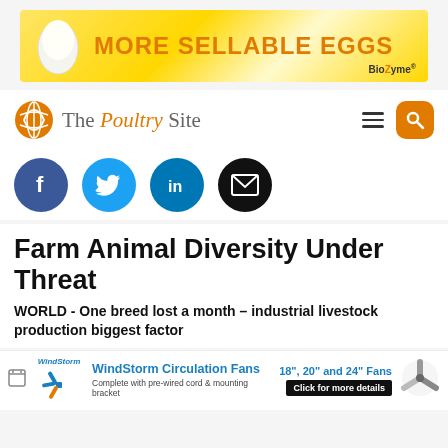[Figure (other): Banner advertisement: yellow gradient background with egg illustration on left, bold orange text 'MORE SELLABLE EGGS', BioZyme brand logo bottom right]
[Figure (logo): The Poultry Site logo with orange globe icon, site name in serif font, hamburger menu and orange search button on right]
[Figure (other): Social media sharing icons row: Facebook (dark blue circle with f), Twitter (light blue circle with bird), LinkedIn (blue circle with in), Email (black circle with envelope)]
Farm Animal Diversity Under Threat
WORLD - One breed lost a month – industrial livestock production biggest factor
[Figure (other): WindStorm Circulation Fans advertisement: blue fan logo, product name in blue bold text, description text, sizes '18", 20" and 24" Fans', black 'Click for more details' button, fan illustration on right]